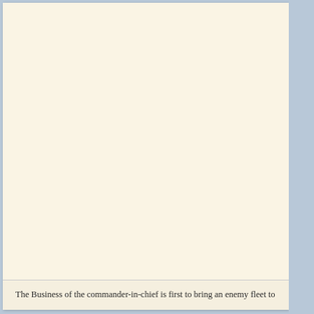The Business of the commander-in-chief is first to bring an enemy fleet to